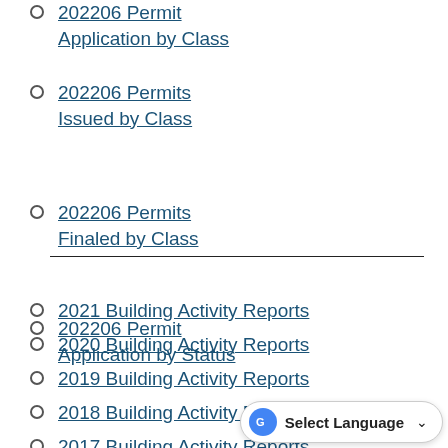202206 Permit Application by Class
202206 Permits Issued by Class
202206 Permits Finaled by Class
202206 Permit Application by Status
2021 Building Activity Reports
2020 Building Activity Reports
2019 Building Activity Reports
2018 Building Activity Reports
2017 Building Activity Reports